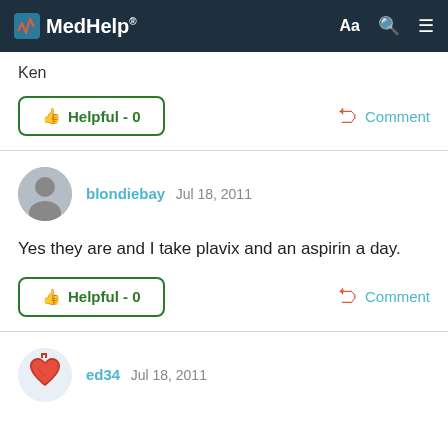MedHelp
Ken
Helpful - 0
Comment
blondiebay Jul 18, 2011
Yes they are and I take plavix and an aspirin a day.
Helpful - 0
Comment
ed34 Jul 18, 2011